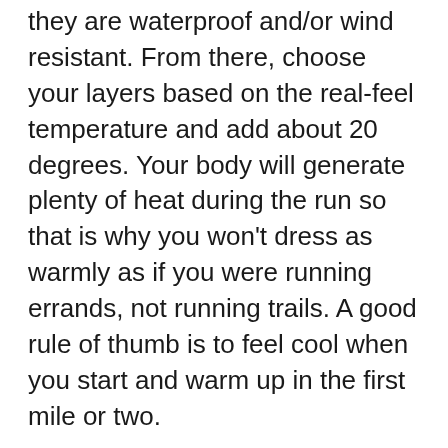they are waterproof and/or wind resistant. From there, choose your layers based on the real-feel temperature and add about 20 degrees. Your body will generate plenty of heat during the run so that is why you won't dress as warmly as if you were running errands, not running trails. A good rule of thumb is to feel cool when you start and warm up in the first mile or two.
2. Protect your extremities: You will need to assemble a collection of reliable and warm socks, gloves and hats for winter running. Your toes, hands and head will be the first body parts to lose heat on a run. I've had the most difficulty keeping my hands